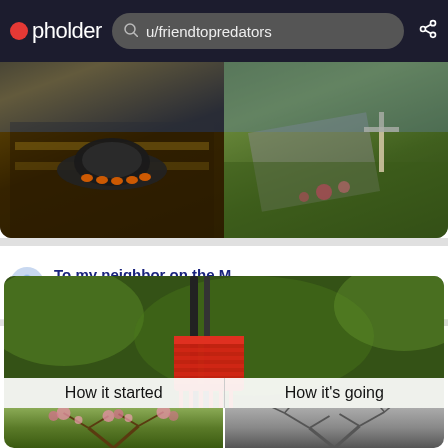pholder — u/friendtopredators
[Figure (screenshot): Split photo showing left: UFO sculpture outside a building at night with golden lighting; right: outdoor garden scene with a road and skeleton decoration in a yard]
To my neighbor on the M…
10mo · FriendToPredators
I gonna do the best play acting. You'll see!
5yr · FriendToPredators · r/TinyTrumps
[Figure (photo): Close-up photo of a red garden rake or tool against a green blurred background, with text overlay 'How it started' and 'How it's going']
[Figure (photo): Bottom row split: left shows blossoming tree branches with pink flowers, right shows bare winter tree branches in grey tone]